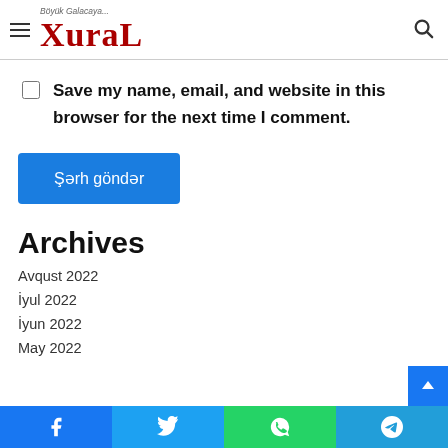XuraL — Böyük Galacaya...
Save my name, email, and website in this browser for the next time I comment.
Şərh göndər
Archives
Avqust 2022
İyul 2022
İyun 2022
May 2022